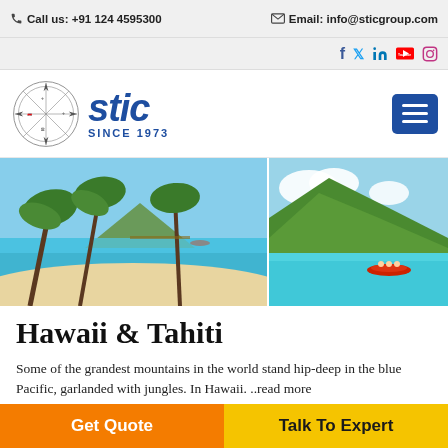Call us: +91 124 4595300   Email: info@sticgroup.com
[Figure (logo): STIC Travel logo with compass rose graphic and text SINCE 1973]
[Figure (photo): Two tropical destination photos side by side: left shows a beach with palm trees and blue ocean in Hawaii; right shows a green mountain island with red kayak in turquoise water in Tahiti]
Hawaii & Tahiti
Some of the grandest mountains in the world stand hip-deep in the blue Pacific, garlanded with jungles. In Hawaii. ..read more
Get Quote
Talk To Expert